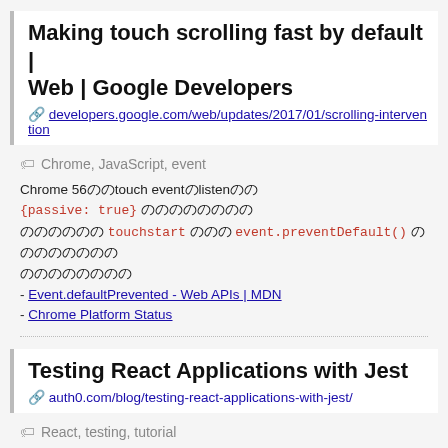Making touch scrolling fast by default | Web | Google Developers
🔗 developers.google.com/web/updates/2017/01/scrolling-intervention
🏷 Chrome, JavaScript, event
Chrome 56のtouch eventのlistenにの {passive: true} のののののののの のののののの touchstart ののの event.preventDefault() のののののののの のののののののの - Event.defaultPrevented - Web APIs | MDN - Chrome Platform Status
Testing React Applications with Jest
🔗 auth0.com/blog/testing-react-applications-with-jest/
🏷 React, testing, tutorial